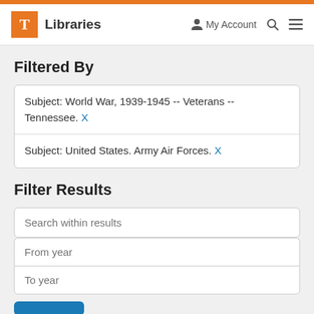T Libraries | My Account | Search | Menu
Filtered By
Subject: World War, 1939-1945 -- Veterans -- Tennessee. X
Subject: United States. Army Air Forces. X
Filter Results
Search within results
From year
To year